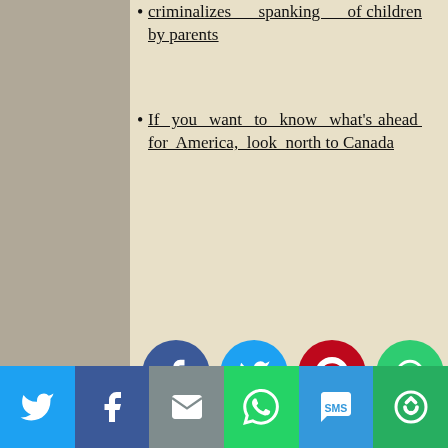criminalizes spanking of children by parents
If you want to know what's ahead for America, look north to Canada
[Figure (infographic): Row of four social share icon circles: Facebook (blue), Twitter (light blue), Pinterest (red), and a share/rotate icon (green)]
Posted in Big Government, Civil-Rights, Constitution[al], Democratic Progressivism, Freedom, Legal/Law, Poli-Sci, Political Correctness, Pundits & Personalities, Religion, Statism/Communism/Socialism, Theology
Tagged 1st Amendment, American Exceptionalism, Canada, Crazy Canadians, Freedom of Speech, Persecution
[Figure (photo): Partial image showing the word 'Freedom' on a circular object]
[Figure (infographic): Bottom share bar with six buttons: Twitter (blue), Facebook (dark blue), Email (gray), WhatsApp (green), SMS (blue), More/Share (green)]